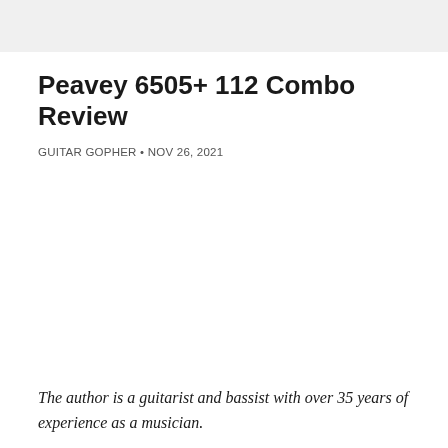Peavey 6505+ 112 Combo Review
GUITAR GOPHER • NOV 26, 2021
The author is a guitarist and bassist with over 35 years of experience as a musician.